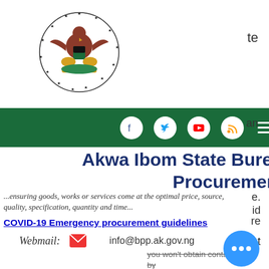[Figure (logo): Nigerian coat of arms / government seal]
Akwa Ibom State Bureau of Public Procurement
...ensuring goods, works or services come at the optimal price, source, quality, specification, quantity and time...
COVID-19 Emergency procurement guidelines
Webmail:  info@bpp.ak.gov.ng
you won't obtain contaminated by anything. You'll be able to trust the Toto verification procedure and  not have to worry about getting ripped off.
A secure Toto site is  the one that has actually been checked and eaten.  These sites need to  satisfy strict requirements and guidelines, that include a variety of products, that